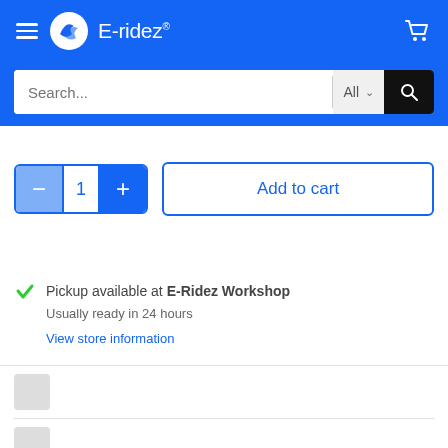E-ridez
[Figure (screenshot): Search bar with 'Search...' placeholder text, 'All' dropdown, and search button]
[Figure (other): Product quantity selector with minus, 1, plus buttons and Add to cart button]
Pickup available at E-Ridez Workshop
Usually ready in 24 hours
View store information